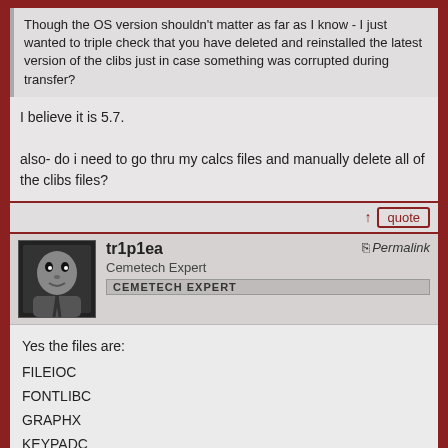Though the OS version shouldn't matter as far as I know - I just wanted to triple check that you have deleted and reinstalled the latest version of the clibs just in case something was corrupted during transfer?
I believe it is 5.7.

also- do i need to go thru my calcs files and manually delete all of the clibs files?
↑ quote
tr1p1ea
Cemetech Expert
CEMETECH EXPERT
Permalink
Yes the files are:

FILEIOC
FONTLIBC
GRAPHX
KEYPADC
LibLoad
[Figure (screenshot): TI-84 Plus CE calculator screen showing 'NORMAL FLOAT AUTO REAL RADIAN MP' status bar with battery icon]